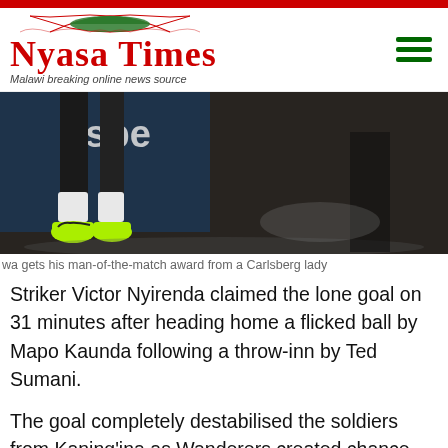Nyasa Times — Malawi breaking online news source
[Figure (photo): Cropped photo showing lower legs and feet of a football player wearing bright yellow-green cleats, with a Carlsberg-branded banner/flag visible in the background on a dark surface.]
wa gets his man-of-the-match award from a Carlsberg lady
Striker Victor Nyirenda claimed the lone goal on 31 minutes after heading home a flicked ball by Mapo Kaunda following a throw-inn by Ted Sumani.
The goal completely destabilised the soldiers from Kaning'ina as Wanderers created chance after chance. However, Wanderers strikers Nyirenda, Kaunda and Kondwani Kumwenda gave away the opportunities that could have seen the vehicle dealers wrapping up the game.